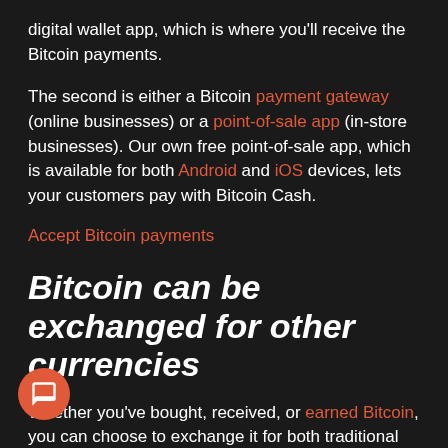digital wallet app, which is where you'll receive the Bitcoin payments.
The second is either a Bitcoin payment gateway (online businesses) or a point-of-sale app (in-store businesses). Our own free point-of-sale app, which is available for both Android and iOS devices, lets your customers pay with Bitcoin Cash.
Accept Bitcoin payments
Bitcoin can be exchanged for other currencies
Whether you've bought, received, or earned Bitcoin, you can choose to exchange it for both traditional (fiat) currencies and also for other digital currencies.